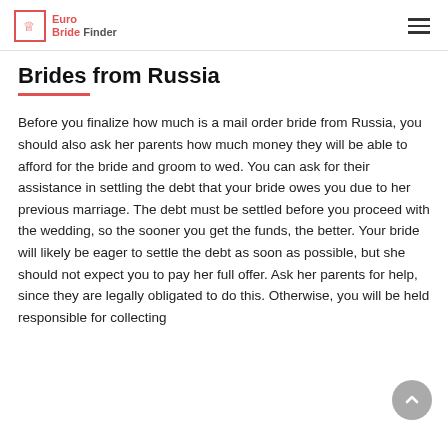Euro Bride Finder
Brides from Russia
Before you finalize how much is a mail order bride from Russia, you should also ask her parents how much money they will be able to afford for the bride and groom to wed. You can ask for their assistance in settling the debt that your bride owes you due to her previous marriage. The debt must be settled before you proceed with the wedding, so the sooner you get the funds, the better. Your bride will likely be eager to settle the debt as soon as possible, but she should not expect you to pay her full offer. Ask her parents for help, since they are legally obligated to do this. Otherwise, you will be held responsible for collecting